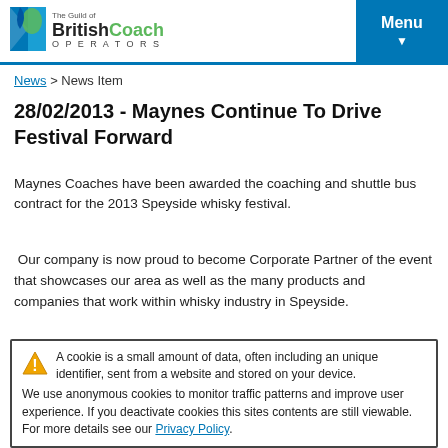The Guild of British Coach Operators | Menu
News > News Item
28/02/2013 - Maynes Continue To Drive Festival Forward
Maynes Coaches have been awarded the coaching and shuttle bus contract for the 2013 Speyside whisky festival.
Our company is now proud to become Corporate Partner of the event that showcases our area as well as the many products and companies that work within whisky industry in Speyside.
A cookie is a small amount of data, often including an unique identifier, sent from a website and stored on your device. We use anonymous cookies to monitor traffic patterns and improve user experience. If you deactivate cookies this sites contents are still viewable. For more details see our Privacy Policy.